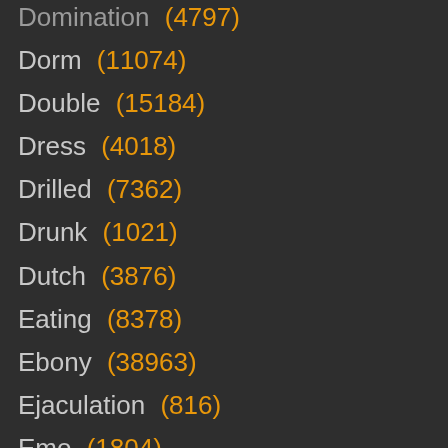Domination (4797)
Dorm (11074)
Double (15184)
Dress (4018)
Drilled (7362)
Drunk (1021)
Dutch (3876)
Eating (8378)
Ebony (38963)
Ejaculation (816)
Emo (1804)
Erotic (13458)
Ethnic (502)
European (26717)
Ex-Gf (2475)